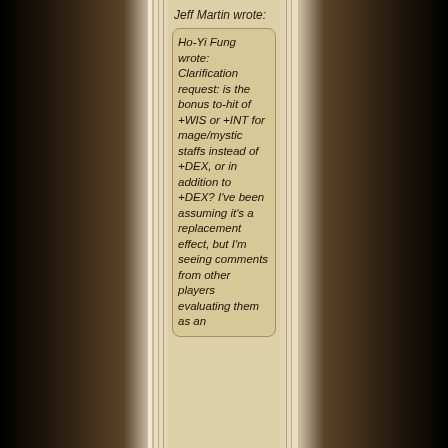Jeff Martin wrote:
Ho-Yi Fung wrote: Clarification request: is the bonus to-hit of +WIS or +INT for mage/mystic staffs instead of +DEX, or in addition to +DEX? I've been assuming it's a replacement effect, but I'm seeing comments from other players evaluating them as an